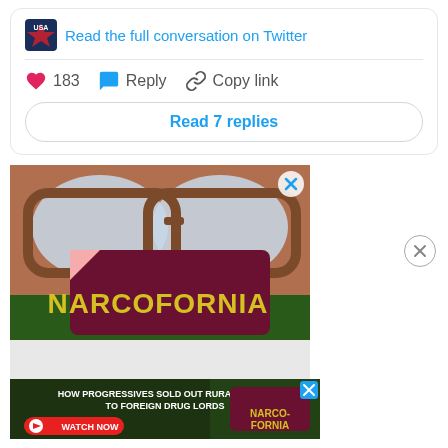Read the full conversation on Twitter
183  Reply  Copy link
Read 7 replies
[Figure (illustration): Advertisement image for 'Narcofornia' showing a person wearing sunglasses with a peeling label overlay showing the word NARCOFORNIA in yellow letters on a dark red/maroon background, with cannabis leaves visible]
[Figure (screenshot): Ad banner for Narcofornia: 'HOW PROGRESSIVES SOLD OUT RURAL TOWNS TO FOREIGN DRUG LORDS' with WATCH NOW button and Narcofornia logo]